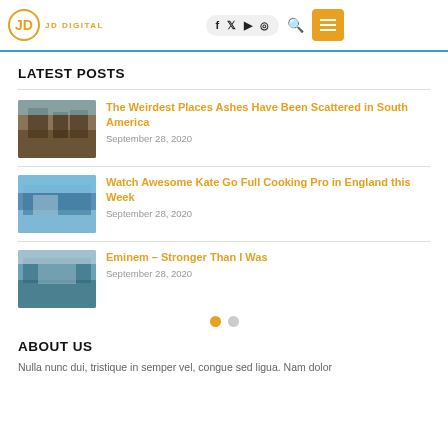JD DIGITAL - Navigation header with social icons
LATEST POSTS
[Figure (photo): Thumbnail image of an interior/architectural scene]
The Weirdest Places Ashes Have Been Scattered in South America
September 28, 2020
[Figure (photo): Thumbnail image of an outdoor cooking or travel scene]
Watch Awesome Kate Go Full Cooking Pro in England this Week
September 28, 2020
[Figure (photo): Thumbnail image with a pool or landscape]
Eminem – Stronger Than I Was
September 28, 2020
ABOUT US
Nulla nunc dui, tristique in semper vel, congue sed ligua. Nam dolor